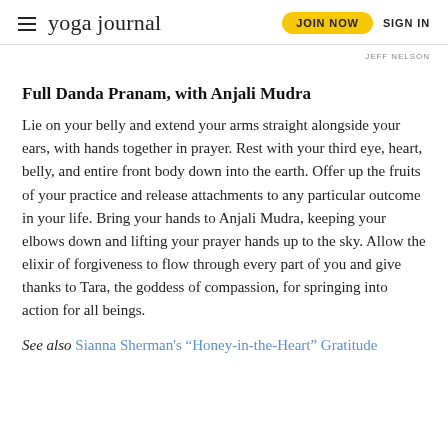yoga journal | JOIN NOW  SIGN IN
JEFF NELSON
Full Danda Pranam, with Anjali Mudra
Lie on your belly and extend your arms straight alongside your ears, with hands together in prayer. Rest with your third eye, heart, belly, and entire front body down into the earth. Offer up the fruits of your practice and release attachments to any particular outcome in your life. Bring your hands to Anjali Mudra, keeping your elbows down and lifting your prayer hands up to the sky. Allow the elixir of forgiveness to flow through every part of you and give thanks to Tara, the goddess of compassion, for springing into action for all beings.
See also Sianna Sherman's “Honey-in-the-Heart” Gratitude